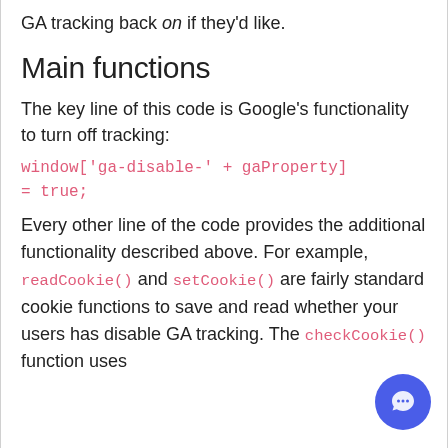GA tracking back on if they'd like.
Main functions
The key line of this code is Google's functionality to turn off tracking:
Every other line of the code provides the additional functionality described above. For example, readCookie() and setCookie() are fairly standard cookie functions to save and read whether your users has disable GA tracking. The checkCookie() function uses
[Figure (other): Blue circular chat/support button in bottom right corner]